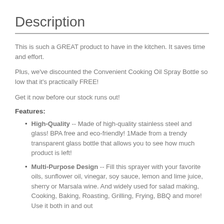Description
This is such a GREAT product to have in the kitchen. It saves time and effort.
Plus, we've discounted the Convenient Cooking Oil Spray Bottle so low that it's practically FREE!
Get it now before our stock runs out!
Features:
High-Quality -- Made of high-quality stainless steel and glass! BPA free and eco-friendly! 1Made from a trendy transparent glass bottle that allows you to see how much product is left!
Multi-Purpose Design -- Fill this sprayer with your favorite oils, sunflower oil, vinegar, soy sauce, lemon and lime juice, sherry or Marsala wine. And widely used for salad making, Cooking, Baking, Roasting, Grilling, Frying, BBQ and more! Use it both in and out